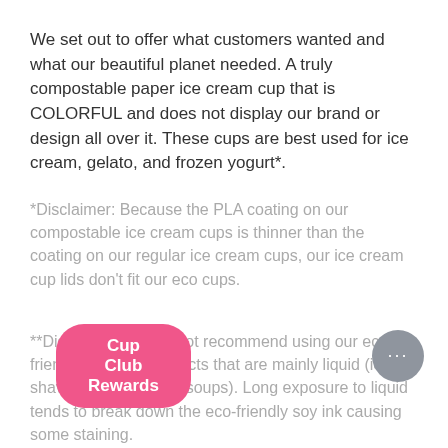We set out to offer what customers wanted and what our beautiful planet needed. A truly compostable paper ice cream cup that is COLORFUL and does not display our brand or design all over it. These cups are best used for ice cream, gelato, and frozen yogurt*.
*Disclaimer: Because the PLA coating on our compostable ice cream cups is thinner than the coating on our regular ice cream cups, our ice cream cup lids don't fit our eco cups.
**Disclaimer: We do not recommend using our eco friendly cups for products that are mainly liquid (ie: shaved ice, drinks, or soups). Long exposure to liquid tends to break down the eco-friendly soy ink causing some staining.
Cup Club Rewards